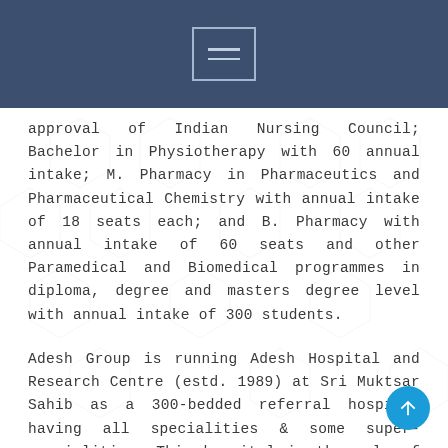approval of Indian Nursing Council; Bachelor in Physiotherapy with 60 annual intake; M. Pharmacy in Pharmaceutics and Pharmaceutical Chemistry with annual intake of 18 seats each; and B. Pharmacy with annual intake of 60 seats and other Paramedical and Biomedical programmes in diploma, degree and masters degree level with annual intake of 300 students.
Adesh Group is running Adesh Hospital and Research Centre (estd. 1989) at Sri Muktsar Sahib as a 300-bedded referral hospital having all specialities & some super-specialities. This hospital is the only of its kind in the region and offers integrated services in multiple specialities